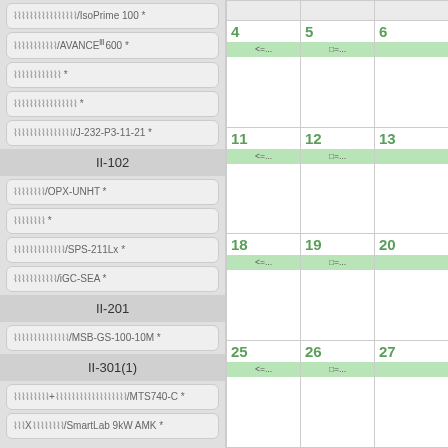□□□□□□□□□□□□□□□□/IsoPrime 100 *
□□□□□□□□□□□/AVANCE III 600 *
□□□□□□□□□□□□ *
□□□□□□□□□□□□□□□□ *
□□□□□□□□□□□□□□□/J-232-P3-11-21 *
II-102
□□□□□□□□/OPX-UNHT *
□□□□□□□□ *
□□□□□□□□□□□□□/SPS-211Lx *
□□□□□□□□□□□/iGC-SEA *
II-201
□□□□□□□□□□□□□□/MSB-GS-100-10M *
II-301(1)
□□□□□□□□□+□□□□□□□□□□□□□□□□□□□/MTS740-C *
□□□X□□□□□□□/SmartLab 9kW AMK *
| 4 | 5 | 6 |
| --- | --- | --- |
| <=... | □=... |  |
|  |
| 11 | 12 | 13 |
| <=... | □=... |  |
|  |
| 18 | 19 | 20 |
| <=... | □=... |  |
|  |
| 25 | 26 | 27 |
| <=... | □=... |  |